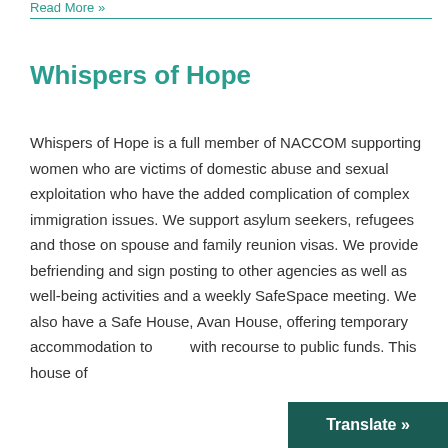Read More »
Whispers of Hope
Whispers of Hope is a full member of NACCOM supporting women who are victims of domestic abuse and sexual exploitation who have the added complication of complex immigration issues. We support asylum seekers, refugees and those on spouse and family reunion visas. We provide befriending and sign posting to other agencies as well as well-being activities and a weekly SafeSpace meeting. We also have a Safe House, Avan House, offering temporary accommodation to with recourse to public funds. This house of
Translate »